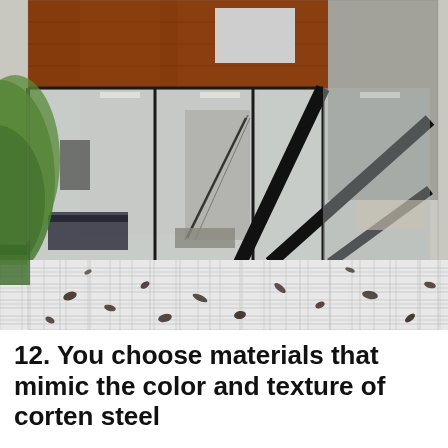[Figure (photo): Architectural rendering of a modern house with corten steel upper volume, floor-to-ceiling glass walls revealing interior with staircase, black structural steel diagonal braces, white tiled terrace/patio with fallen leaves scattered on it, green trees visible on left side.]
12. You choose materials that mimic the color and texture of corten steel